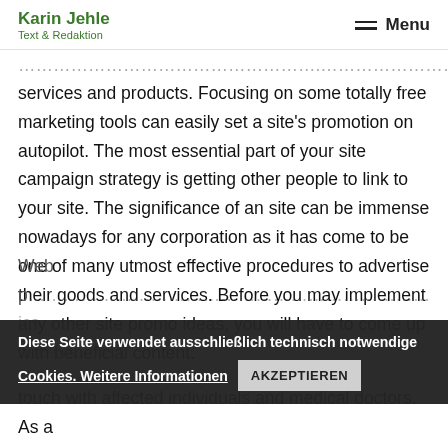Karin Jehle
Text & Redaktion
Menu
services and products. Focusing on some totally free marketing tools can easily set a site's promotion on autopilot. The most essential part of your site campaign strategy is getting other people to link to your site. The significance of an site can be immense nowadays for any corporation as it has come to be one of many utmost effective procedures to advertise their goods and services. Before you may implement any other site promo ideas, you will have to come up with beneficial content.
Web p... because the p... is ... get in touch with affected individuals and medical doctors. As a
Diese Seite verwendet ausschließlich technisch notwendige Cookies. Weitere Informationen  AKZEPTIEREN